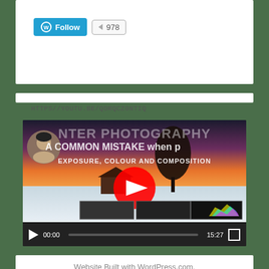[Figure (screenshot): WordPress Follow button with 978 count]
HTTPS//YOUTU.BE/QDRQCZ0NTIQ
[Figure (screenshot): YouTube video player showing 'A COMMON MISTAKE when p... WINTER PHOTOGRAPHY - EXPOSURE, COLOUR AND COMPOSITION' with time 00:00 / 15:27]
Website Built with WordPress.com.